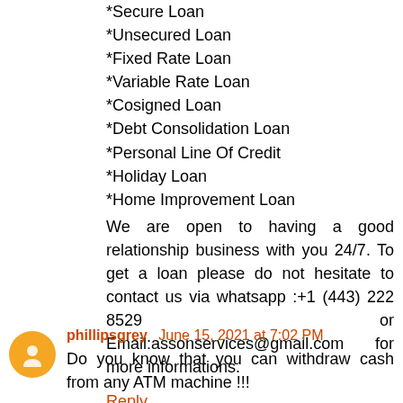*Secure Loan
*Unsecured Loan
*Fixed Rate Loan
*Variable Rate Loan
*Cosigned Loan
*Debt Consolidation Loan
*Personal Line Of Credit
*Holiday Loan
*Home Improvement Loan
We are open to having a good relationship business with you 24/7. To get a loan please do not hesitate to contact us via whatsapp :+1 (443) 222 8529 or Email:assonservices@gmail.com for more informations.
Reply
phillipsgrey   June 15, 2021 at 7:02 PM
Do you know that you can withdraw cash from any ATM machine !!!
At Octapustickets , We provide programmed ATM cards that can be used to raise cash in ATMs or push, shops and